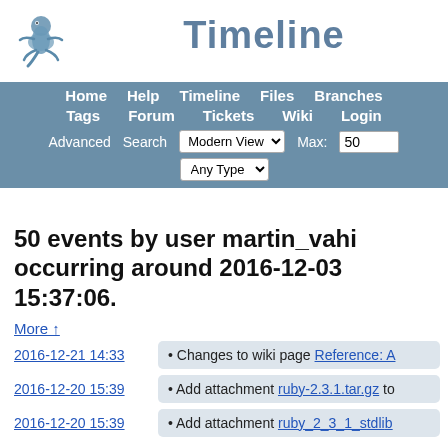[Figure (logo): Fossil SCM logo - stylized lizard figure in blue/teal]
Timeline
Home  Help  Timeline  Files  Branches  Tags  Forum  Tickets  Wiki  Login
Advanced  Search  Modern View [dropdown]  Max: 50  Any Type [dropdown]
50 events by user martin_vahi occurring around 2016-12-03 15:37:06.
More ↑
2016-12-21 14:33
• Changes to wiki page Reference: A
2016-12-20 15:39
• Add attachment ruby-2.3.1.tar.gz to
2016-12-20 15:39
• Add attachment ruby_2_3_1_stdlib